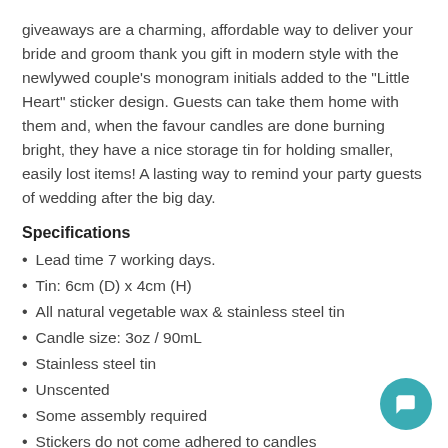giveaways are a charming, affordable way to deliver your bride and groom thank you gift in modern style with the newlywed couple's monogram initials added to the "Little Heart" sticker design. Guests can take them home with them and, when the favour candles are done burning bright, they have a nice storage tin for holding smaller, easily lost items! A lasting way to remind your party guests of wedding after the big day.
Specifications
Lead time 7 working days.
Tin: 6cm (D) x 4cm (H)
All natural vegetable wax & stainless steel tin
Candle size: 3oz / 90mL
Stainless steel tin
Unscented
Some assembly required
Stickers do not come adhered to candles
Average burn time: 3-4 hours